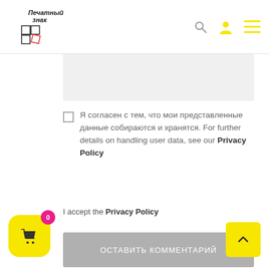Печатный знак — website header with logo and navigation icons
[Figure (screenshot): Gray input/textarea area for comment form]
Я согласен с тем, что мои представленные данные собираются и хранятся. For further details on handling user data, see our Privacy Policy
I accept the Privacy Policy
[Figure (illustration): Gray submit button labeled 'Оставить комментарий']